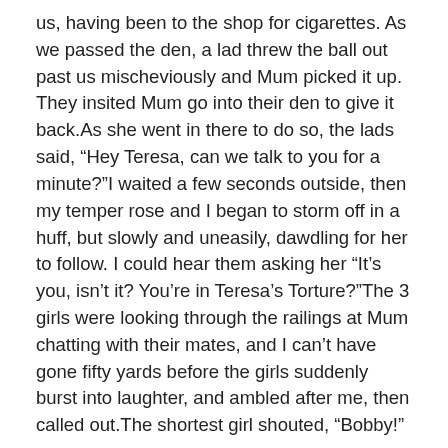us, having been to the shop for cigarettes. As we passed the den, a lad threw the ball out past us mischeviously and Mum picked it up. They insited Mum go into their den to give it back.As she went in there to do so, the lads said, “Hey Teresa, can we talk to you for a minute?”I waited a few seconds outside, then my temper rose and I began to storm off in a huff, but slowly and uneasily, dawdling for her to follow. I could hear them asking her “It’s you, isn’t it? You’re in Teresa’s Torture?”The 3 girls were looking through the railings at Mum chatting with their mates, and I can’t have gone fifty yards before the girls suddenly burst into laughter, and ambled after me, then called out.The shortest girl shouted, “Bobby!” As I turned round she went, “The lads are asking your Mum something!”The second girl worsened it by adding in her common tarty accent, “Something DIRTY!”The tall older girl of maybe 21, capped the taunt by pointing at me and shouting